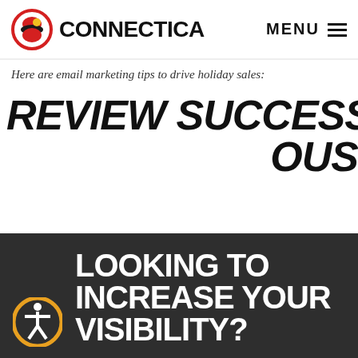CONNECTICA | MENU
Here are email marketing tips to drive holiday sales:
REVIEW SUCCESSES AND ...OUS
[Figure (screenshot): Dark modal popup overlay with accessibility icon, heading 'LOOKING TO INCREASE YOUR VISIBILITY?', body text 'Contact your local SEO Experts to see how we can get you ranking on the first page.', red CTA text 'CONTACT US', and a red 'LEAVE A REVIEW' badge on the right side.]
ve and us on trends nes, and for the